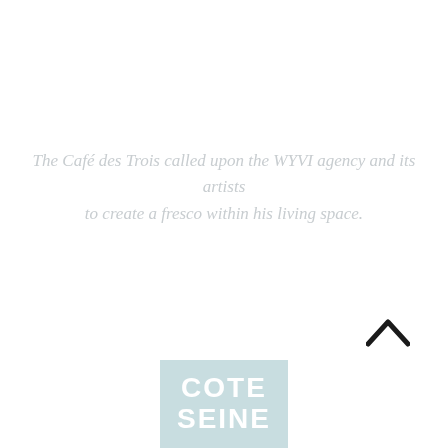The Café des Trois called upon the WYVI agency and its artists to create a fresco within his living space.
[Figure (logo): Cote Seine logo: light blue square with white bold text reading COTE SEINE]